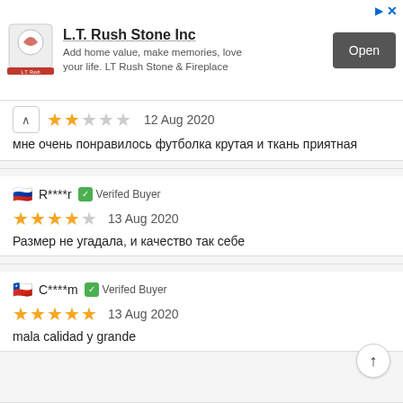[Figure (screenshot): L.T. Rush Stone Inc advertisement banner with logo, tagline, and Open button]
мне очень понравилось футболка крутая и ткань приятная
R****r  Verifed Buyer  13 Aug 2020  Размер не угадала, и качество так себе
C****m  Verifed Buyer  13 Aug 2020  mala calidad y grande